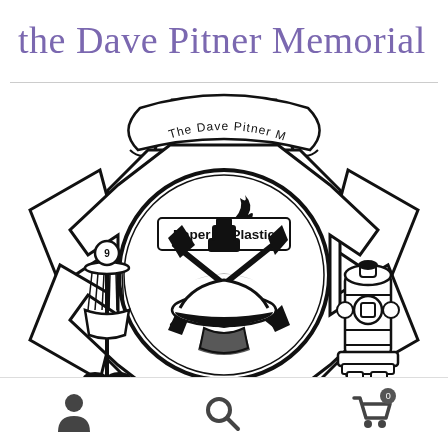the Dave Pitner Memorial
[Figure (logo): The Dave Pitner Memorial 'Paper or Plastic' disc golf event logo. A firefighter Maltese cross badge design with a central circle containing crossed fire axes, a firefighter helmet, and a nozzle. The banner at top reads 'The Dave Pitner Memorial'. Inside the circle reads 'Paper or Plastic'. Left arm shows a disc golf basket with number 9 ball. Right arm shows a fire hydrant.]
User icon | Search icon | Cart icon with badge 0